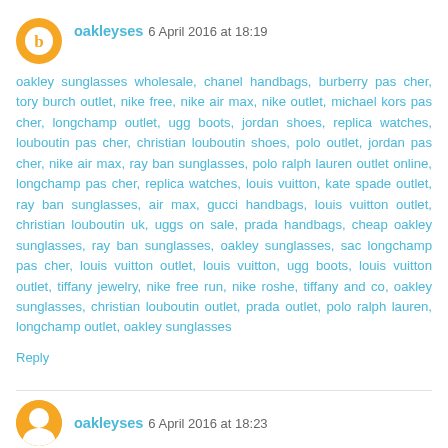oakleyses 6 April 2016 at 18:19
oakley sunglasses wholesale, chanel handbags, burberry pas cher, tory burch outlet, nike free, nike air max, nike outlet, michael kors pas cher, longchamp outlet, ugg boots, jordan shoes, replica watches, louboutin pas cher, christian louboutin shoes, polo outlet, jordan pas cher, nike air max, ray ban sunglasses, polo ralph lauren outlet online, longchamp pas cher, replica watches, louis vuitton, kate spade outlet, ray ban sunglasses, air max, gucci handbags, louis vuitton outlet, christian louboutin uk, uggs on sale, prada handbags, cheap oakley sunglasses, ray ban sunglasses, oakley sunglasses, sac longchamp pas cher, louis vuitton outlet, louis vuitton, ugg boots, louis vuitton outlet, tiffany jewelry, nike free run, nike roshe, tiffany and co, oakley sunglasses, christian louboutin outlet, prada outlet, polo ralph lauren, longchamp outlet, oakley sunglasses
Reply
oakleyses 6 April 2016 at 18:23